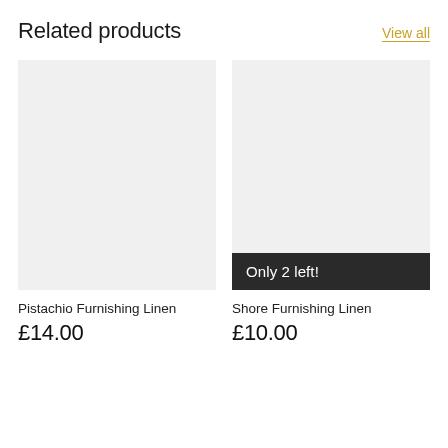Related products
View all
[Figure (photo): Light grey product image placeholder for Pistachio Furnishing Linen]
Pistachio Furnishing Linen
£14.00
[Figure (photo): Light grey product image placeholder for Shore Furnishing Linen with 'Only 2 left!' badge at bottom]
Shore Furnishing Linen
£10.00